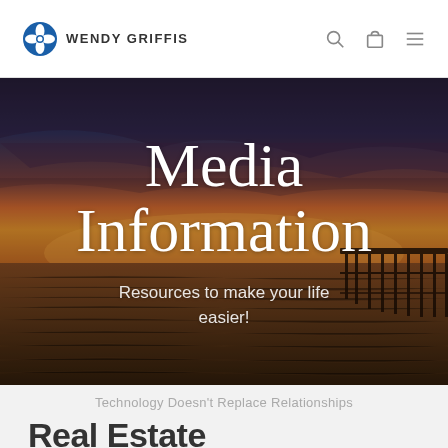WENDY GRIFFIS
[Figure (photo): Sunset beach scene with pier, dark atmospheric sky with orange and purple hues over water]
Media Information
Resources to make your life easier!
Technology Doesn't Replace Relationships
Real Estate